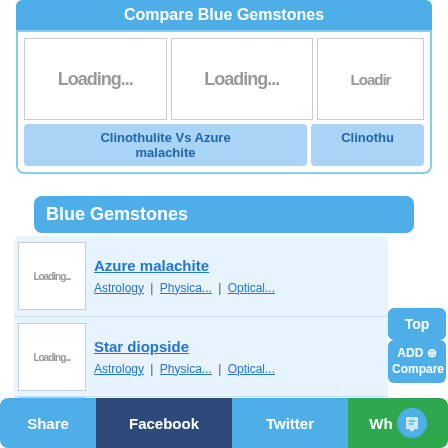Compare Blue Gemstones
[Figure (screenshot): Three loading image placeholders for gemstone comparison]
Clinothulite Vs Azure malachite
Clinothu
Blue Gemstones
Azure malachite | Astrology | Physica... | Optical...
Star diopside | Astrology | Physica... | Optical...
Blue gold | Astrology | Physica... | Optical...
Top
ADD ⊕ Compare
Share | Facebook | Twitter | Wh